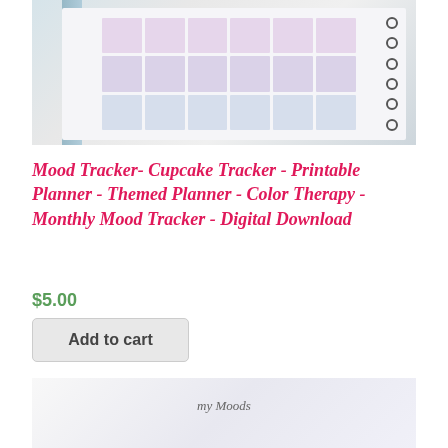[Figure (photo): Photo of a printable planner/mood tracker with light blue spine binding, ring binder on right side, and grid sections in purple/lavender tones on a marble background]
Mood Tracker- Cupcake Tracker - Printable Planner - Themed Planner - Color Therapy - Monthly Mood Tracker - Digital Download
$5.00
Add to cart
[Figure (photo): Partial photo of another mood tracker product with handwritten-style text reading 'my Moods']